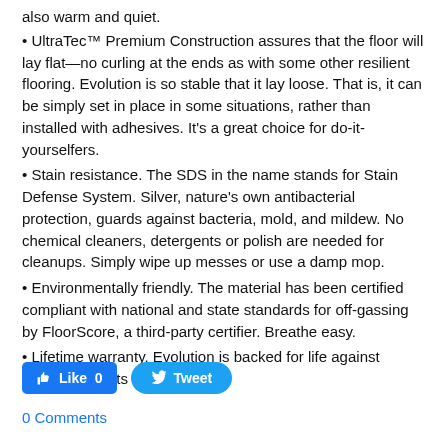also warm and quiet.
• UltraTec™ Premium Construction assures that the floor will lay flat—no curling at the ends as with some other resilient flooring. Evolution is so stable that it lay loose. That is, it can be simply set in place in some situations, rather than installed with adhesives. It's a great choice for do-it-yourselfers.
• Stain resistance. The SDS in the name stands for Stain Defense System. Silver, nature's own antibacterial protection, guards against bacteria, mold, and mildew. No chemical cleaners, detergents or polish are needed for cleanups. Simply wipe up messes or use a damp mop.
• Environmentally friendly. The material has been certified compliant with national and state standards for off-gassing by FloorScore, a third-party certifier. Breathe easy.
• Lifetime warranty. Evolution is backed for life against material defects and wear.
[Figure (other): Like button (Facebook) and Tweet button (Twitter) social sharing widgets]
0 Comments